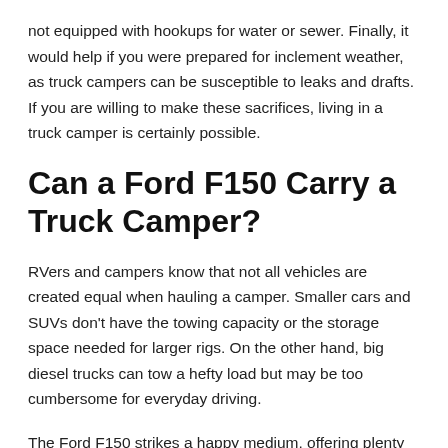not equipped with hookups for water or sewer. Finally, it would help if you were prepared for inclement weather, as truck campers can be susceptible to leaks and drafts. If you are willing to make these sacrifices, living in a truck camper is certainly possible.
Can a Ford F150 Carry a Truck Camper?
RVers and campers know that not all vehicles are created equal when hauling a camper. Smaller cars and SUVs don't have the towing capacity or the storage space needed for larger rigs. On the other hand, big diesel trucks can tow a hefty load but may be too cumbersome for everyday driving.
The Ford F150 strikes a happy medium, offering plenty of power and payload capacity without sacrificing maneuverability. Many RVers find that the F150 is the perfect truck for carrying a camper. With a towing capacity of up to 13,200 pounds, the F150 can easily